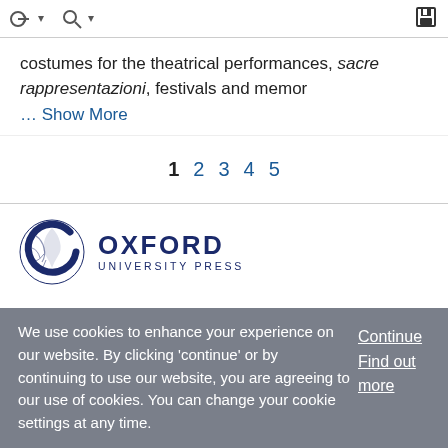toolbar with navigation icons
costumes for the theatrical performances, sacre rappresentazioni, festivals and memor
... Show More
1 2 3 4 5
[Figure (logo): Oxford University Press logo with circular OUP emblem and text OXFORD UNIVERSITY PRESS]
We use cookies to enhance your experience on our website. By clicking 'continue' or by continuing to use our website, you are agreeing to our use of cookies. You can change your cookie settings at any time.
Continue
Find out more